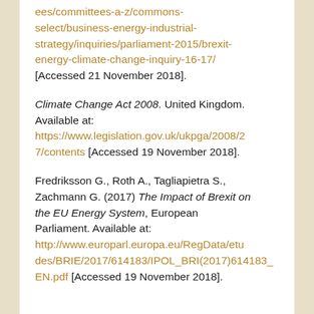ees/committees-a-z/commons-select/business-energy-industrial-strategy/inquiries/parliament-2015/brexit-energy-climate-change-inquiry-16-17/ [Accessed 21 November 2018].
Climate Change Act 2008. United Kingdom. Available at: https://www.legislation.gov.uk/ukpga/2008/27/contents [Accessed 19 November 2018].
Fredriksson G., Roth A., Tagliapietra S., Zachmann G. (2017) The Impact of Brexit on the EU Energy System, European Parliament. Available at: http://www.europarl.europa.eu/RegData/etudes/BRIE/2017/614183/IPOL_BRI(2017)614183_EN.pdf [Accessed 19 November 2018].